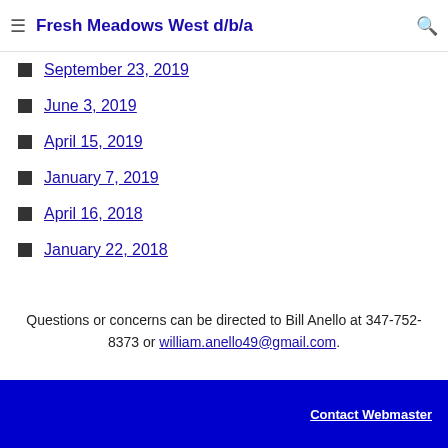Fresh Meadows West d/b/a
September 23, 2019
June 3, 2019
April 15, 2019
January 7, 2019
April 16, 2018
January 22, 2018
Questions or concerns can be directed to Bill Anello at 347-752-8373 or william.anello49@gmail.com.
Contact Webmaster